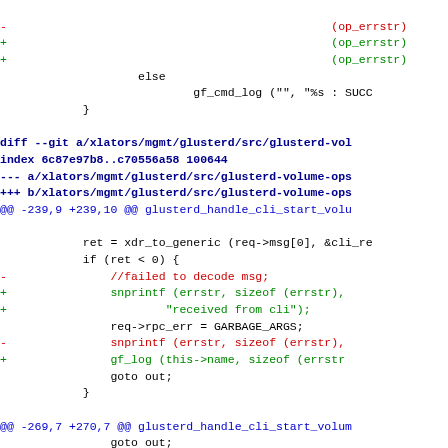diff --git a/xlators/mgmt/glusterd/src/glusterd-vol
index 6c87e97b8..c70556a58 100644
--- a/xlators/mgmt/glusterd/src/glusterd-volume-ops
+++ b/xlators/mgmt/glusterd/src/glusterd-volume-ops
@@ -239,9 +239,10 @@ glusterd_handle_cli_start_volu

        ret = xdr_to_generic (req->msg[0], &cli_re
        if (ret < 0) {
-               //failed to decode msg;
+               snprintf (errstr, sizeof (errstr),
+                       "received from cli");
                req->rpc_err = GARBAGE_ARGS;
-               snprintf (errstr, sizeof (errstr),
+               gf_log (this->name, sizeof (errstr
                goto out;
        }

@@ -269,7 +270,7 @@ glusterd_handle_cli_start_volum
               goto out;
        }

-       gf_log (this->name, GF_LOG_INFO, "Received
+       gf_log (this->name, GF_LOG_DEBUG, "Receive
               "for volume '%s'", volname);